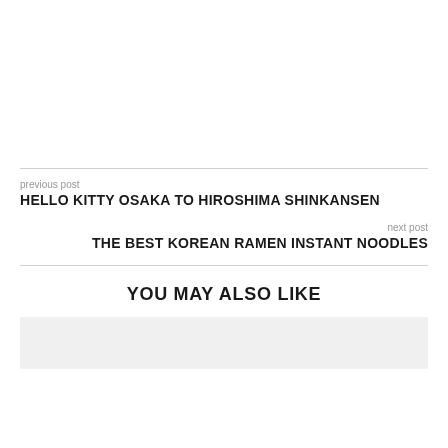previous post
HELLO KITTY OSAKA TO HIROSHIMA SHINKANSEN
next post
THE BEST KOREAN RAMEN INSTANT NOODLES
YOU MAY ALSO LIKE
[Figure (photo): Placeholder image block (light gray rectangle)]